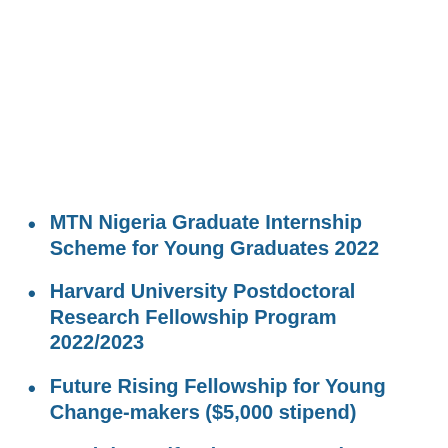MTN Nigeria Graduate Internship Scheme for Young Graduates 2022
Harvard University Postdoctoral Research Fellowship Program 2022/2023
Future Rising Fellowship for Young Change-makers ($5,000 stipend)
Youth in Agrifood Export Development Program (YEDP) 2022